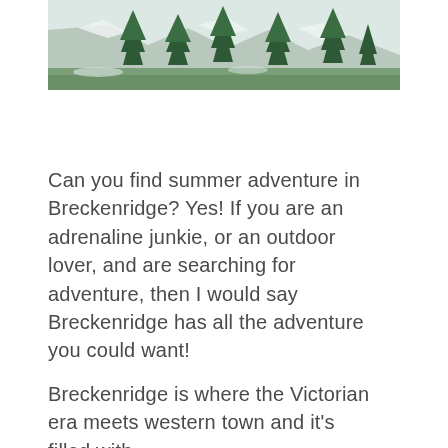[Figure (photo): Mountain landscape with snow-capped rocky peaks, evergreen pine trees, and green meadow in foreground. Summer scene in what appears to be Breckenridge, Colorado area.]
Can you find summer adventure in Breckenridge? Yes! If you are an adrenaline junkie, or an outdoor lover, and are searching for adventure, then I would say Breckenridge has all the adventure you could want!
Breckenridge is where the Victorian era meets western town and it's filled with